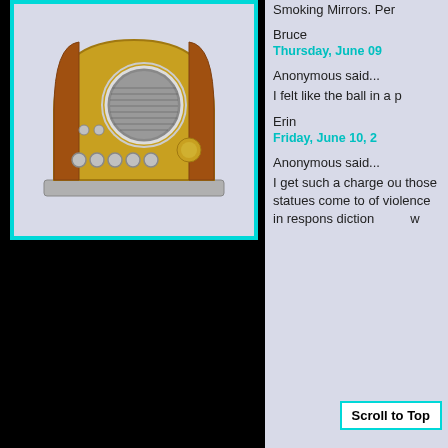[Figure (photo): Vintage brass and copper art deco radio with circular speaker grille and multiple buttons/knobs on front, on light blue-gray background]
Smoking Mirrors. Per
Bruce
Thursday, June 09
Anonymous said...
I felt like the ball in a p
Erin
Friday, June 10, 2
Anonymous said...
I get such a charge ou those statues come to of violence in respons diction w
Scroll to Top